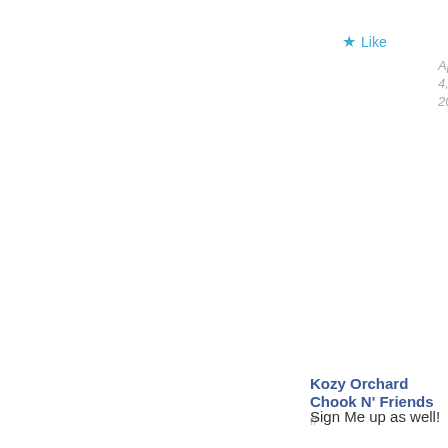Like
April 4, 2012
myrubberboots #
Awww. I need some new o adorable!
Like
April 4, 2012
Kozy Orchard Chook N' Friends #
Sign Me up as well!
Like